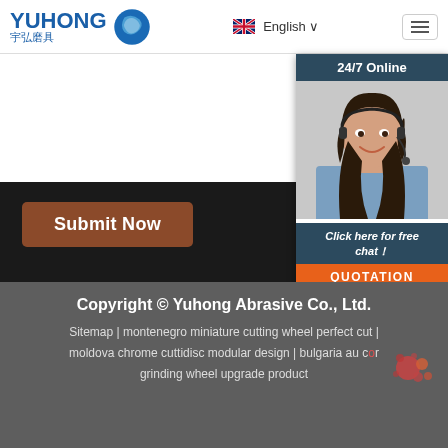YUHONG 宇弘磨具 | English | Menu
[Figure (photo): Customer service representative woman with headset smiling, labeled 24/7 Online with Click here for free chat! and QUOTATION button]
Submit Now
Copyright © Yuhong Abrasive Co., Ltd.
Sitemap | montenegro miniature cutting wheel perfect cut | moldova chrome cuttidisc modular design | bulgaria au cor grinding wheel upgrade product